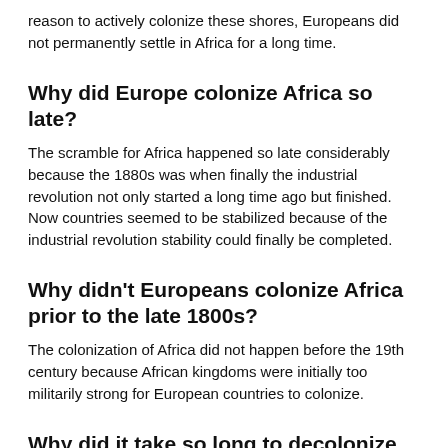reason to actively colonize these shores, Europeans did not permanently settle in Africa for a long time.
Why did Europe colonize Africa so late?
The scramble for Africa happened so late considerably because the 1880s was when finally the industrial revolution not only started a long time ago but finished. Now countries seemed to be stabilized because of the industrial revolution stability could finally be completed.
Why didn't Europeans colonize Africa prior to the late 1800s?
The colonization of Africa did not happen before the 19th century because African kingdoms were initially too militarily strong for European countries to colonize.
Why did it take so long to decolonize Africa?
Following World War II, rapid decolonisation swept across the continent of Africa as many territories gained their